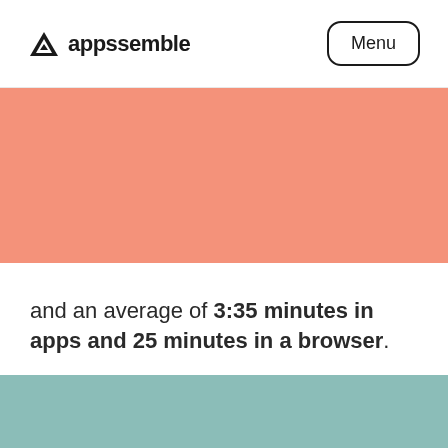[Figure (logo): Appssemble logo with triangle icon and wordmark]
Menu
[Figure (other): Salmon/peach colored decorative band]
and an average of 3:35 minutes in apps and 25 minutes in a browser.
[Figure (other): Teal colored decorative band]